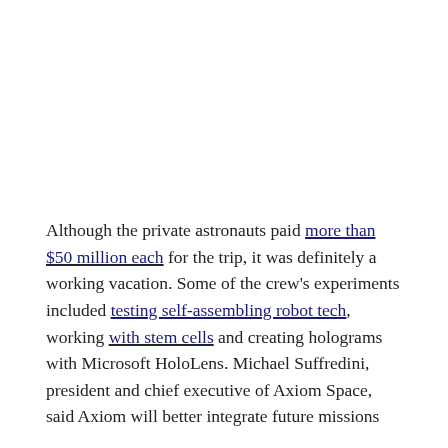Although the private astronauts paid more than $50 million each for the trip, it was definitely a working vacation. Some of the crew's experiments included testing self-assembling robot tech, working with stem cells and creating holograms with Microsoft HoloLens. Michael Suffredini, president and chief executive of Axiom Space, said Axiom will better integrate future missions